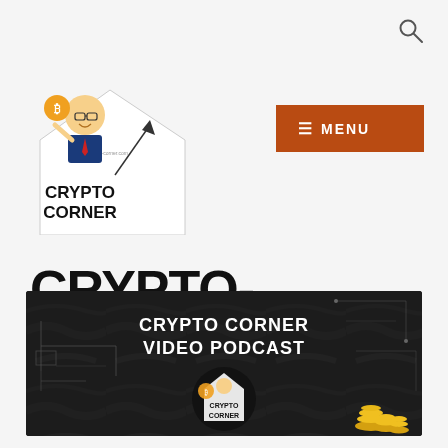[Figure (logo): Crypto Corner logo with cartoon character holding a bitcoin coin, with a rising chart arrow and 'CRYPTO CORNER' text]
[Figure (other): Orange rectangular menu button with hamburger icon and 'MENU' text]
[Figure (other): Search magnifying glass icon in top right corner]
CRYPTO-CORNER
[Figure (illustration): Dark banner for Crypto Corner Video Podcast showing the character logo and gold coin stacks on dark marble/tech background with circuit lines]